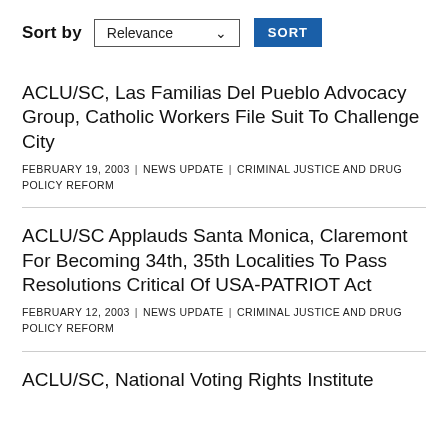Sort by  Relevance  SORT
ACLU/SC, Las Familias Del Pueblo Advocacy Group, Catholic Workers File Suit To Challenge City
FEBRUARY 19, 2003  |  NEWS UPDATE  |  CRIMINAL JUSTICE AND DRUG POLICY REFORM
ACLU/SC Applauds Santa Monica, Claremont For Becoming 34th, 35th Localities To Pass Resolutions Critical Of USA-PATRIOT Act
FEBRUARY 12, 2003  |  NEWS UPDATE  |  CRIMINAL JUSTICE AND DRUG POLICY REFORM
ACLU/SC, National Voting Rights Institute